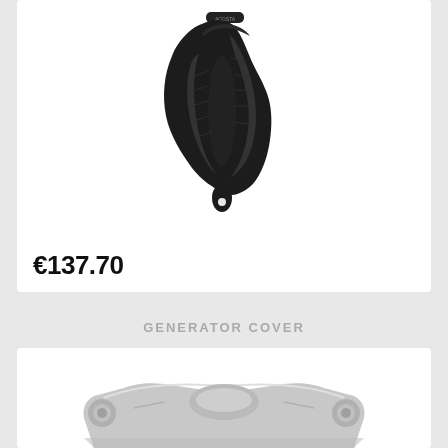[Figure (photo): Black motorcycle engine cover/guard with angular cutouts and a small hole at the bottom, viewed from the front on a white background]
€137.70
GENERATOR COVER
[Figure (photo): Silver/aluminum generator cover motorcycle part, partially visible at bottom of page, on white background]